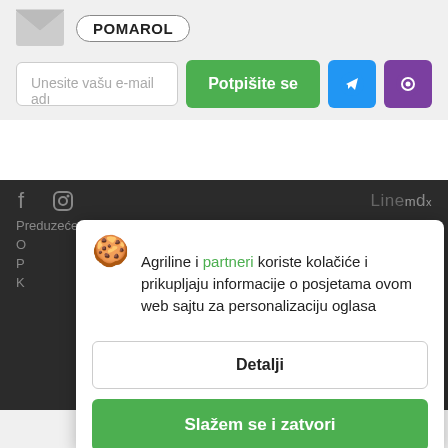[Figure (illustration): Gray mail/envelope icon]
POMAROL
Unesite vašu e-mail adı
Potpišite se
[Figure (illustration): Telegram icon button (blue)]
[Figure (illustration): Viber icon button (purple)]
[Figure (illustration): Facebook and Instagram social icons on dark background, Agriline text on right]
Preduzeće
O
P
K
Agriline i partneri koriste kolačiće i prikupljaju informacije o posjetama ovom web sajtu za personalizaciju oglasa
Detalji
Slažem se i zatvori